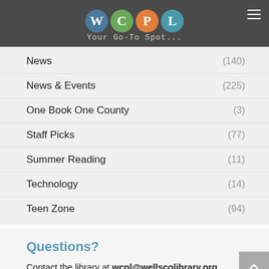[Figure (logo): WCPL logo with four colored circles (W=blue, C=green, P=orange, L=teal) and tagline 'Your Go-To Spot...' on dark gray header background with hamburger menu icon]
News (140)
News & Events (225)
One Book One County (3)
Staff Picks (77)
Summer Reading (11)
Technology (14)
Teen Zone (94)
Questions?
Contact the library at wcpl@wellscolibrary.org